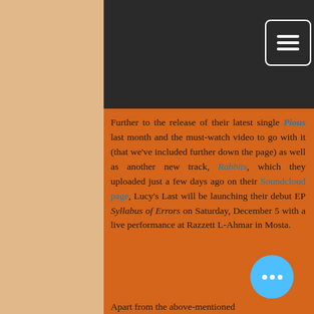[Figure (screenshot): Dark header banner area of a music blog website with a hamburger menu icon in the top right corner]
Further to the release of their latest single Pious last month and the must-watch video to go with it (that we've included further down the page) as well as another new track, Rabbits, which they uploaded just a few days ago on their Soundcloud page, Lucy's Last will be launching their debut EP Syllabus of Errors on Saturday, December 5 with a live performance at Razzett L-Ahmar in Mosta.
Apart from the above-mentioned